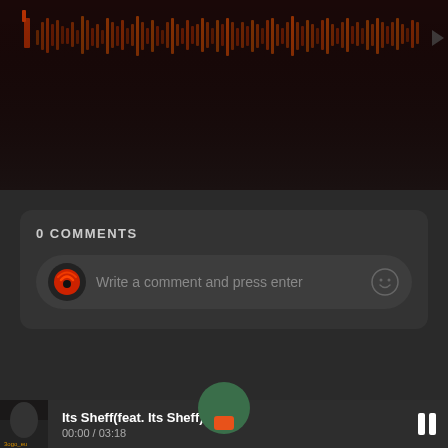[Figure (other): Dark music player waveform visualization area with orange/red audio waveform bars on dark background]
0 COMMENTS
Write a comment and press enter
Its Sheff(feat. Its Sheff)
00:00 / 03:18